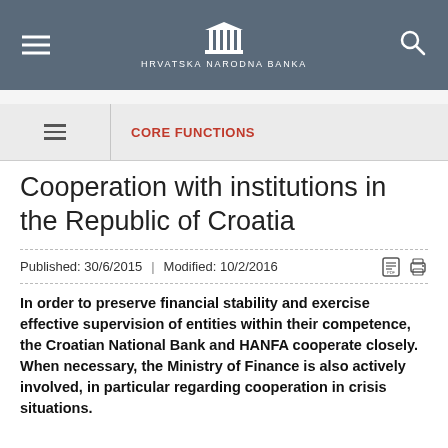HRVATSKA NARODNA BANKA
CORE FUNCTIONS
Cooperation with institutions in the Republic of Croatia
Published: 30/6/2015 | Modified: 10/2/2016
In order to preserve financial stability and exercise effective supervision of entities within their competence, the Croatian National Bank and HANFA cooperate closely. When necessary, the Ministry of Finance is also actively involved, in particular regarding cooperation in crisis situations.